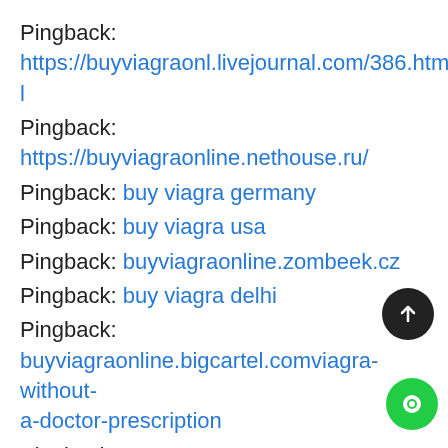Pingback: https://buyviagraonl.livejournal.com/386.html
Pingback: https://buyviagraonline.nethouse.ru/
Pingback: buy viagra germany
Pingback: buy viagra usa
Pingback: buyviagraonline.zombeek.cz
Pingback: buy viagra delhi
Pingback: buyviagraonline.bigcartel.comviagra-without-a-doctor-prescription
Pingback: https://buyviagraonline.teachable.com/
Pingback: https://telegra.ph/How-to-get-